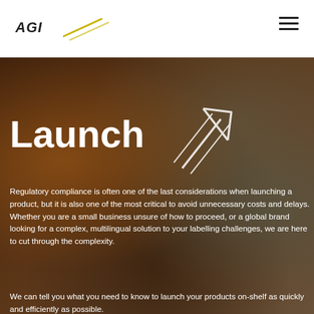AGI [logo with arrow graphic] [hamburger menu]
[Figure (photo): Background photo of a person shopping in a market/store with products on shelves, overlaid with dark semi-transparent tint. A white arrow/launch icon is displayed over the image.]
Launch
Regulatory compliance is often one of the last considerations when launching a product, but it is also one of the most critical to avoid unnecessary costs and delays. Whether you are a small business unsure of how to proceed, or a global brand looking for a complex, multilingual solution to your labelling challenges, we are here to cut through the complexity.
We can tell you what you need to know to launch your products on-shelf as quickly and efficiently as possible.